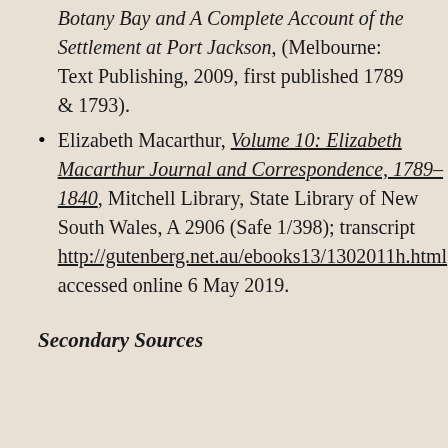Botany Bay and A Complete Account of the Settlement at Port Jackson, (Melbourne: Text Publishing, 2009, first published 1789 & 1793).
Elizabeth Macarthur, Volume 10: Elizabeth Macarthur Journal and Correspondence, 1789–1840, Mitchell Library, State Library of New South Wales, A 2906 (Safe 1/398); transcript http://gutenberg.net.au/ebooks13/1302011h.html, accessed online 6 May 2019.
Secondary Sources